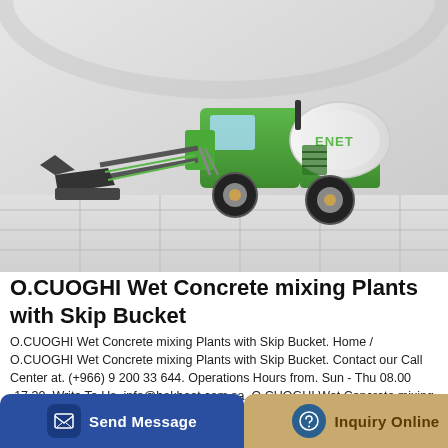[Figure (photo): A green self-loading concrete mixer truck with a skip bucket/shovel attachment in front, set against a light grey architectural background with tiled floor. Brand marking 'ENET' visible on the drum.]
O.CUOGHI Wet Concrete mixing Plants with Skip Bucket
O.CUOGHI Wet Concrete mixing Plants with Skip Bucket. Home / O.CUOGHI Wet Concrete mixing Plants with Skip Bucket. Contact our Call Center at. (+966) 9 200 33 644. Operations Hours from. Sun - Thu 08.00 -17.30. Write To Us. info@bakheet.com.sa. O.CUOGHI Wet Concrete mixing Plants...